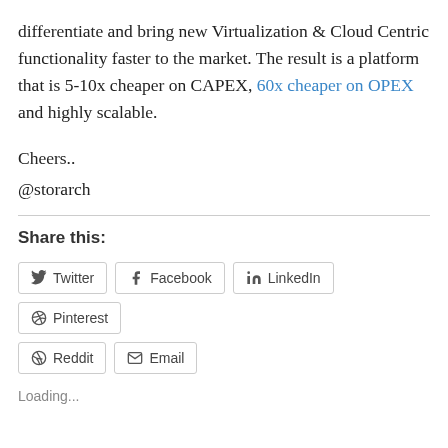differentiate and bring new Virtualization & Cloud Centric functionality faster to the market. The result is a platform that is 5-10x cheaper on CAPEX, 60x cheaper on OPEX and highly scalable.
Cheers..
@storarch
Share this:
Twitter Facebook LinkedIn Pinterest Reddit Email
Loading...